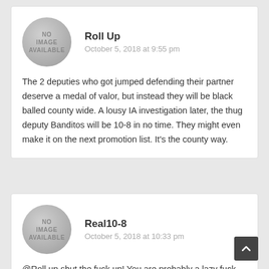Roll Up
October 5, 2018 at 9:55 pm
The 2 deputies who got jumped defending their partner deserve a medal of valor, but instead they will be black balled county wide. A lousy IA investigation later, the thug deputy Banditos will be 10-8 in no time. They might even make it on the next promotion list. It's the county way.
Real10-8
October 5, 2018 at 10:33 pm
@Roll up shut the fuck up! You are probably a lazy fuck and that's why nobody likes you… everyone else has to handle yo calls… lazy